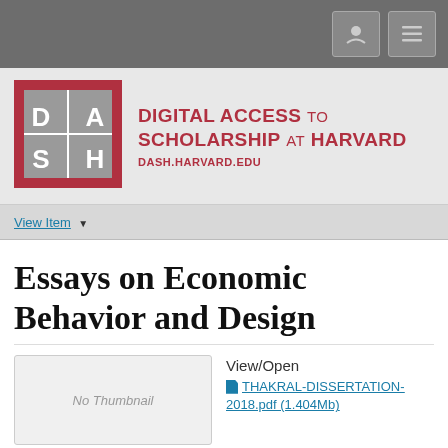[Figure (logo): DASH - Digital Access to Scholarship at Harvard logo with red border and grey letter blocks]
DIGITAL ACCESS TO SCHOLARSHIP AT HARVARD
DASH.HARVARD.EDU
View Item
Essays on Economic Behavior and Design
View/Open
THAKRAL-DISSERTATION-2018.pdf (1.404Mb)
[Figure (other): No Thumbnail placeholder image]